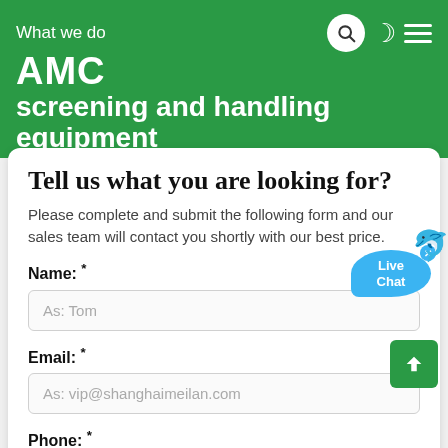What we do AMC screening and handling equipment
Tell us what you are looking for?
Please complete and submit the following form and our sales team will contact you shortly with our best price.
Name: *
As: Tom
Email: *
As: vip@shanghaimeilan.com
Phone: *
With Country Code
The Location of the Project: